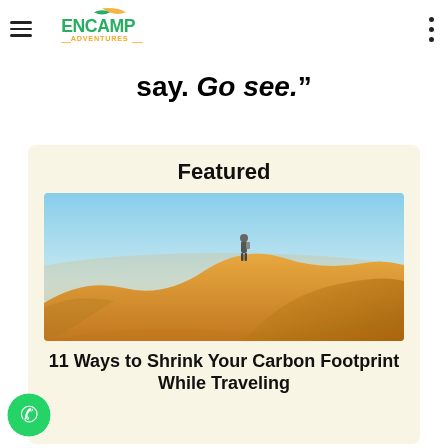Encamp Adventures
say. Go see.”
Featured
[Figure (photo): A person standing on top of golden sand dunes in a desert landscape under a clear blue sky]
11 Ways to Shrink Your Carbon Footprint While Traveling